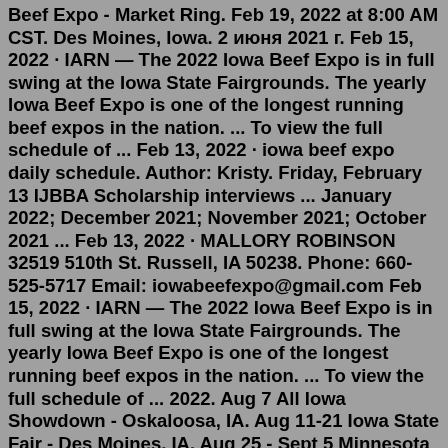Beef Expo - Market Ring. Feb 19, 2022 at 8:00 AM CST. Des Moines, Iowa. 2 июня 2021 г. Feb 15, 2022 · IARN — The 2022 Iowa Beef Expo is in full swing at the Iowa State Fairgrounds. The yearly Iowa Beef Expo is one of the longest running beef expos in the nation. ... To view the full schedule of ... Feb 13, 2022 · iowa beef expo daily schedule. Author: Kristy. Friday, February 13 IJBBA Scholarship interviews ... January 2022; December 2021; November 2021; October 2021 ... Feb 13, 2022 · MALLORY ROBINSON 32519 510th St. Russell, IA 50238. Phone: 660-525-5717 Email: iowabeefexpo@gmail.com Feb 15, 2022 · IARN — The 2022 Iowa Beef Expo is in full swing at the Iowa State Fairgrounds. The yearly Iowa Beef Expo is one of the longest running beef expos in the nation. ... To view the full schedule of ... 2022. Aug 7 All Iowa Showdown - Oskaloosa, IA. Aug 11-21 Iowa State Fair - Des Moines, IA. Aug 25 - Sept 5 Minnesota State Fair - St. Paul, MN. Sept 10-18 Clay County Fair -